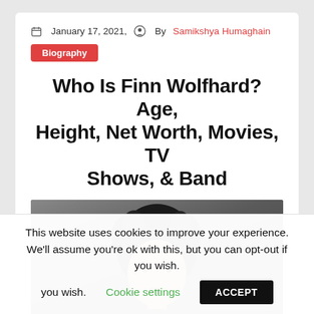January 17, 2021,  By Samikshya Humaghain
Biography
Who Is Finn Wolfhard? Age, Height, Net Worth, Movies, TV Shows, & Band
[Figure (photo): Photo of Finn Wolfhard, a young man with curly dark hair against a dark gray background]
This website uses cookies to improve your experience. We'll assume you're ok with this, but you can opt-out if you wish.  Cookie settings  ACCEPT